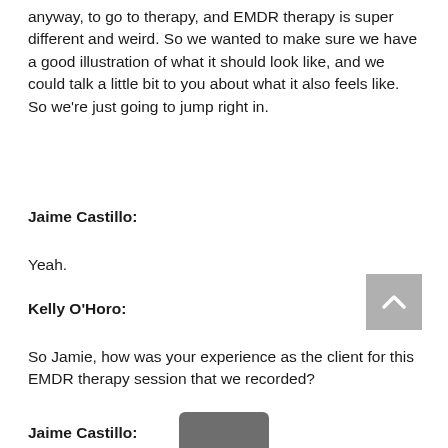anyway, to go to therapy, and EMDR therapy is super different and weird. So we wanted to make sure we have a good illustration of what it should look like, and we could talk a little bit to you about what it also feels like. So we're just going to jump right in.
Jaime Castillo:
Yeah.
Kelly O'Horo:
So Jamie, how was your experience as the client for this EMDR therapy session that we recorded?
Jaime Castillo: